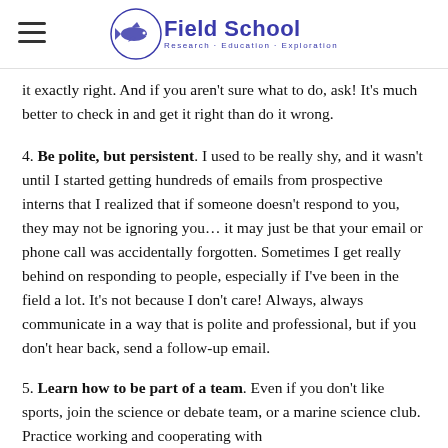Field School — Research · Education · Exploration
it exactly right. And if you aren't sure what to do, ask! It's much better to check in and get it right than do it wrong.
4. Be polite, but persistent. I used to be really shy, and it wasn't until I started getting hundreds of emails from prospective interns that I realized that if someone doesn't respond to you, they may not be ignoring you… it may just be that your email or phone call was accidentally forgotten. Sometimes I get really behind on responding to people, especially if I've been in the field a lot. It's not because I don't care! Always, always communicate in a way that is polite and professional, but if you don't hear back, send a follow-up email.
5. Learn how to be part of a team. Even if you don't like sports, join the science or debate team, or a marine science club. Practice working and cooperating with